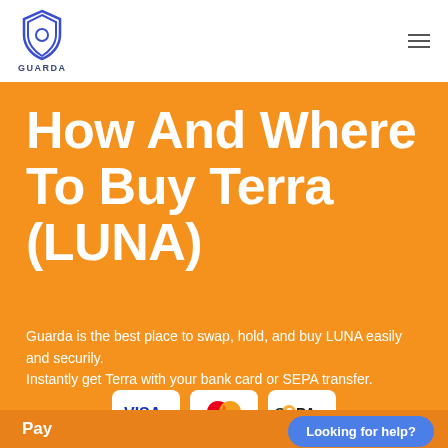[Figure (logo): Guarda shield logo with blue shield icon and GUARDA text below]
How And Where To Buy Terra (LUNA)
Guarda is the best place to swap, hold, and buy LUNA easily and securily.
Instantly get Terra with your bank card or SEPA transfer.
[Figure (infographic): Payment method icons: VISA, Mastercard, SEPA]
Pay
Looking for help?